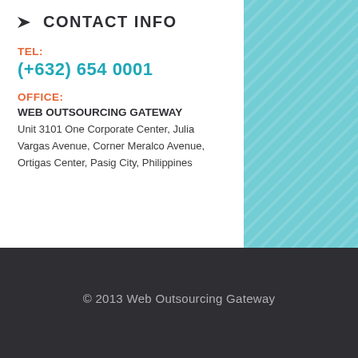CONTACT INFO
TEL:
(+632) 654 0001
OFFICE:
WEB OUTSOURCING GATEWAY
Unit 3101 One Corporate Center, Julia Vargas Avenue, Corner Meralco Avenue, Ortigas Center, Pasig City, Philippines
© 2013 Web Outsourcing Gateway